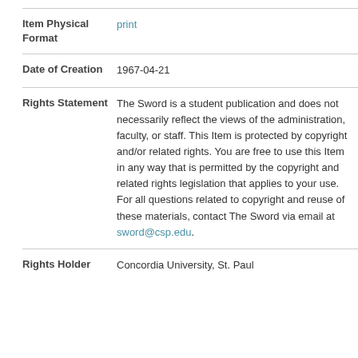| Field | Value |
| --- | --- |
| Item Physical Format | print |
| Date of Creation | 1967-04-21 |
| Rights Statement | The Sword is a student publication and does not necessarily reflect the views of the administration, faculty, or staff. This Item is protected by copyright and/or related rights. You are free to use this Item in any way that is permitted by the copyright and related rights legislation that applies to your use. For all questions related to copyright and reuse of these materials, contact The Sword via email at sword@csp.edu. |
| Rights Holder | Concordia University, St. Paul |